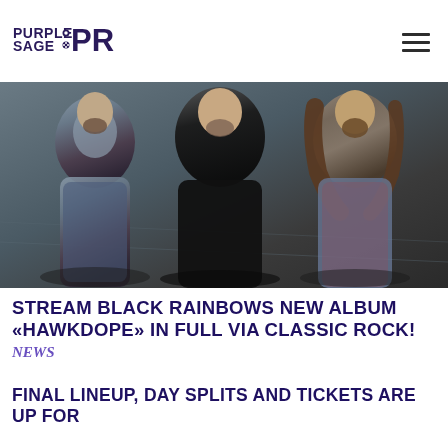Purple Sage PR (logo)
[Figure (photo): Three male band members photographed from above looking up at camera. Left member has beard and denim vest, center member is bald in black shirt, right member has long curly hair and denim vest. Black and white/grey toned photography.]
STREAM BLACK RAINBOWS NEW ALBUM «HAWKDOPE» IN FULL VIA CLASSIC ROCK!
NEWS
FINAL LINEUP, DAY SPLITS AND TICKETS ARE UP FOR